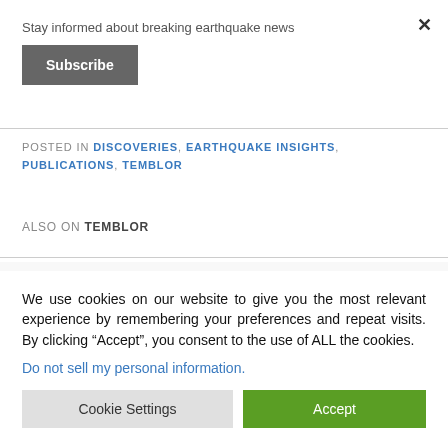Stay informed about breaking earthquake news
Subscribe
POSTED IN DISCOVERIES, EARTHQUAKE INSIGHTS, PUBLICATIONS, TEMBLOR
ALSO ON TEMBLOR
We use cookies on our website to give you the most relevant experience by remembering your preferences and repeat visits. By clicking “Accept”, you consent to the use of ALL the cookies.
Do not sell my personal information.
Cookie Settings
Accept